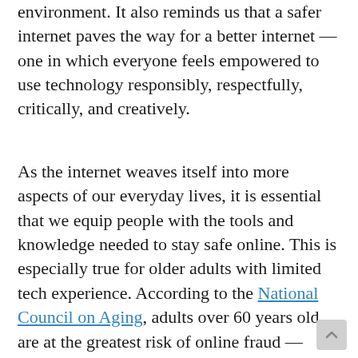environment. It also reminds us that a safer internet paves the way for a better internet — one in which everyone feels empowered to use technology responsibly, respectfully, critically, and creatively.
As the internet weaves itself into more aspects of our everyday lives, it is essential that we equip people with the tools and knowledge needed to stay safe online. This is especially true for older adults with limited tech experience. According to the National Council on Aging, adults over 60 years old are at the greatest risk of online fraud — losing more than $3 billion each year.